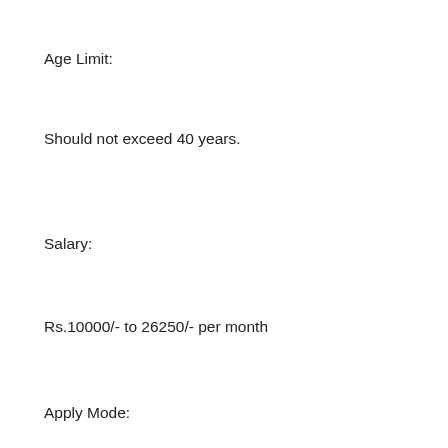Age Limit:
Should not exceed 40 years.
Salary:
Rs.10000/- to 26250/- per month
Apply Mode: